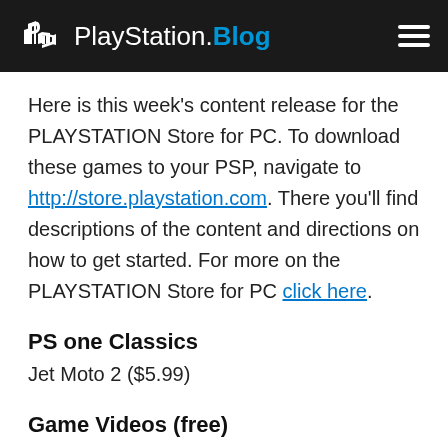PlayStation.Blog
Here is this week's content release for the PLAYSTATION Store for PC. To download these games to your PSP, navigate to http://store.playstation.com. There you'll find descriptions of the content and directions on how to get started. For more on the PLAYSTATION Store for PC click here.
PS one Classics
Jet Moto 2 ($5.99)
Game Videos (free)
Soul Calibur IV Trailer
Lost Planet Promotional Movie